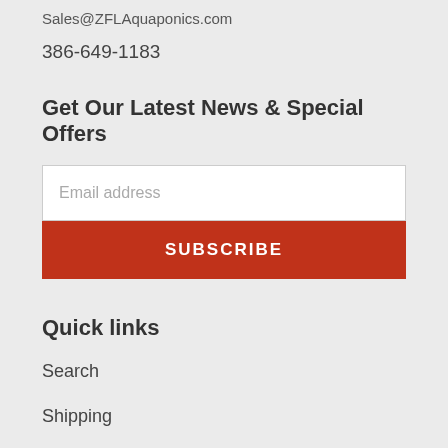Sales@ZFLAquaponics.com
386-649-1183
Get Our Latest News & Special Offers
Email address
SUBSCRIBE
Quick links
Search
Shipping